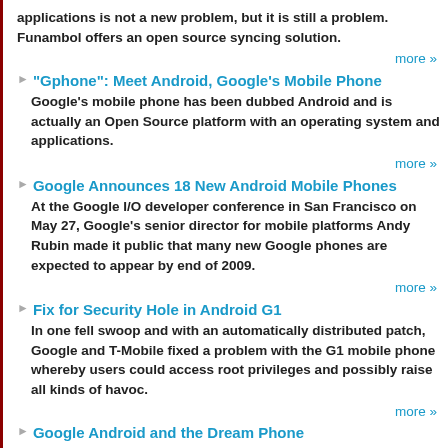applications is not a new problem, but it is still a problem. Funambol offers an open source syncing solution.
more »
"Gphone": Meet Android, Google's Mobile Phone
Google's mobile phone has been dubbed Android and is actually an Open Source platform with an operating system and applications.
more »
Google Announces 18 New Android Mobile Phones
At the Google I/O developer conference in San Francisco on May 27, Google's senior director for mobile platforms Andy Rubin made it public that many new Google phones are expected to appear by end of 2009.
more »
Fix for Security Hole in Android G1
In one fell swoop and with an automatically distributed patch, Google and T-Mobile fixed a problem with the G1 mobile phone whereby users could access root privileges and possibly raise all kinds of havoc.
more »
Google Android and the Dream Phone